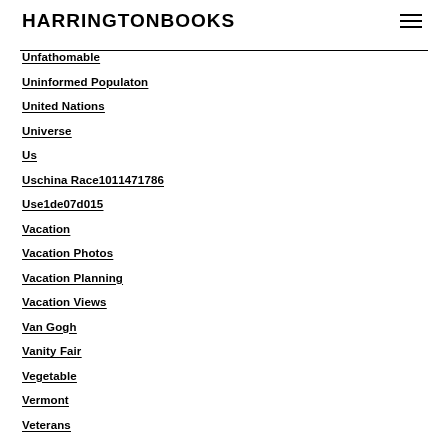HARRINGTONBOOKS
Unfathomable
Uninformed Populaton
United Nations
Universe
Us
Uschina Race1011471786
Use1de07d015
Vacation
Vacation Photos
Vacation Planning
Vacation Views
Van Gogh
Vanity Fair
Vegetable
Vermont
Veterans